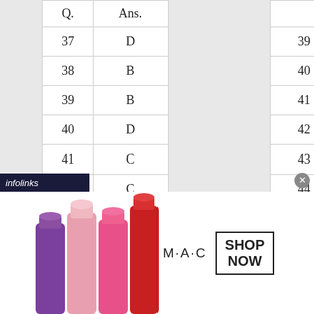| Q. | Ans. |
| --- | --- |
| 37 | D |
| 38 | B |
| 39 | B |
| 40 | D |
| 41 | C |
| 42 | C |
| 43 | D |
| Q. | Ans. |
| --- | --- |
| 39 | B |
| 40 | D |
| 41 | C |
| 42 | A |
| 43 | D |
| 44 | C |
Section3
| Q. | Ans. |
| --- | --- |
| 39 |  |
| 40 |  |
| 41 |  |
| 42 |  |
| 43 |  |
Section
infolinks
[Figure (photo): M·A·C cosmetics advertisement showing lipsticks in purple, pink, bright pink, and red colors alongside the M·A·C logo and a SHOP NOW button]